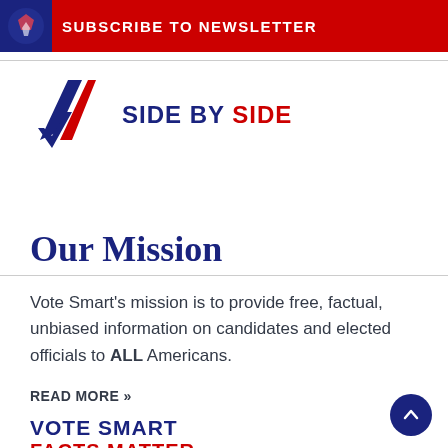SUBSCRIBE TO NEWSLETTER
[Figure (logo): Side by Side logo with checkmark in blue and red, text SIDE BY SIDE with SIDE in red]
Our Mission
Vote Smart's mission is to provide free, factual, unbiased information on candidates and elected officials to ALL Americans.
READ MORE >>
VOTE SMART
FACTS MATTER